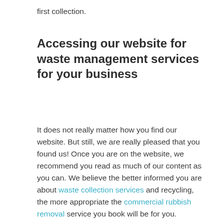first collection.
Accessing our website for waste management services for your business
It does not really matter how you find our website. But still, we are really pleased that you found us! Once you are on the website, we recommend you read as much of our content as you can. We believe the better informed you are about waste collection services and recycling, the more appropriate the commercial rubbish removal service you book will be for you.